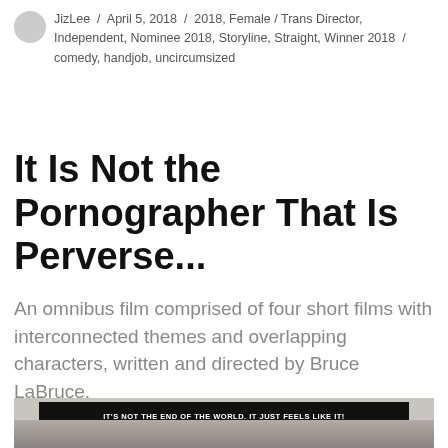JizLee / April 5, 2018 / 2018, Female / Trans Director, Independent, Nominee 2018, Storyline, Straight, Winner 2018 / comedy, handjob, uncircumsized
It Is Not the Pornographer That Is Perverse...
An omnibus film comprised of four short films with interconnected themes and overlapping characters, written and directed by Bruce LaBruce.
[Figure (photo): Movie poster or still image showing text banner 'IT'S NOT THE END OF THE WORLD. IT JUST FEELS LIKE IT!' over a dark background with figures of people.]